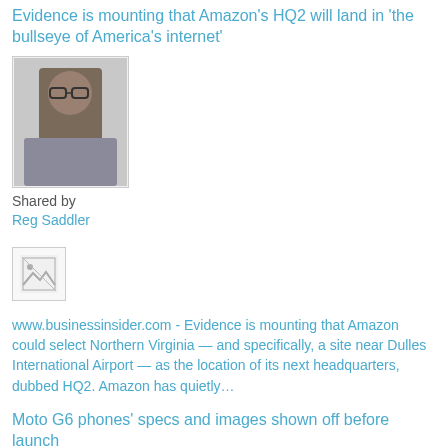Evidence is mounting that Amazon's HQ2 will land in 'the bullseye of America's internet'
[Figure (photo): Profile photo of Reg Saddler — a man wearing glasses]
Shared by
Reg Saddler
[Figure (photo): Small broken/placeholder image icon]
www.businessinsider.com - Evidence is mounting that Amazon could select Northern Virginia — and specifically, a site near Dulles International Airport — as the location of its next headquarters, dubbed HQ2. Amazon has quietly…
Moto G6 phones' specs and images shown off before launch
[Figure (photo): Green Android mascot / Moto logo image]